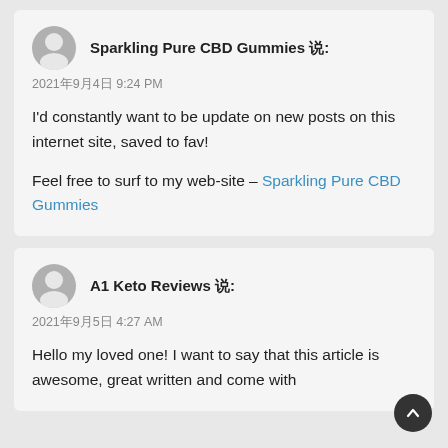Sparkling Pure CBD Gummies 说: 2021年9月4日 9:24 PM
I'd constantly want to be update on new posts on this internet site, saved to fav!
Feel free to surf to my web-site – Sparkling Pure CBD Gummies
A1 Keto Reviews 说: 2021年9月5日 4:27 AM
Hello my loved one! I want to say that this article is awesome, great written and come with